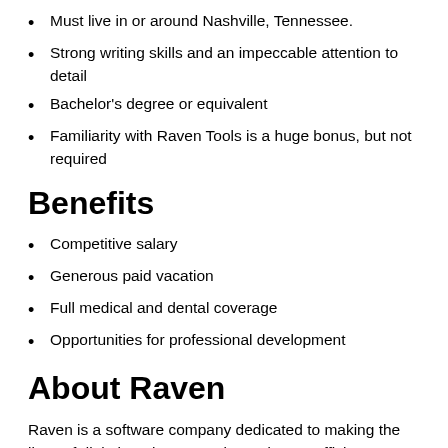Must live in or around Nashville, Tennessee.
Strong writing skills and an impeccable attention to detail
Bachelor's degree or equivalent
Familiarity with Raven Tools is a huge bonus, but not required
Benefits
Competitive salary
Generous paid vacation
Full medical and dental coverage
Opportunities for professional development
About Raven
Raven is a software company dedicated to making the lives of digital marketers easier and more efficient. We provide two products: a website analysis tool called Site